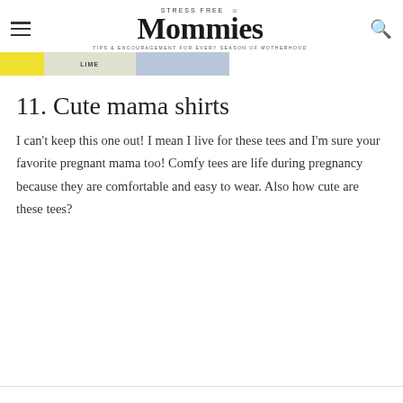STRESS FREE Mommies TIPS & ENCOURAGEMENT FOR EVERY SEASON OF MOTHERHOOD
[Figure (screenshot): Advertisement banner strip with yellow, grey, and blue sections showing promotional content]
11. Cute mama shirts
I can't keep this one out! I mean I live for these tees and I'm sure your favorite pregnant mama too! Comfy tees are life during pregnancy because they are comfortable and easy to wear. Also how cute are these tees?